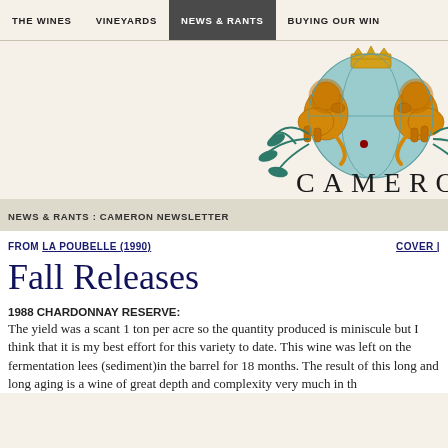THE WINES | VINEYARDS | NEWS & RANTS | BUYING OUR WIN...
[Figure (logo): Cameron Winery heraldic crest with two golden lions holding a blue globe, flanked by teal foliage branches, with crown on top, and 'CAMERON' text below in large serif capitals]
NEWS & RANTS : CAMERON NEWSLETTER
FROM LA POUBELLE (1990)
COVER |
Fall Releases
1988 CHARDONNAY RESERVE:
The yield was a scant 1 ton per acre so the quantity produced is minis... think that it is my best effort for this variety to date. This wine was left... fermentation lees (sediment)in the barrel for 18 months. The result of... and long aging is a wine of great depth and complexity very much in th...